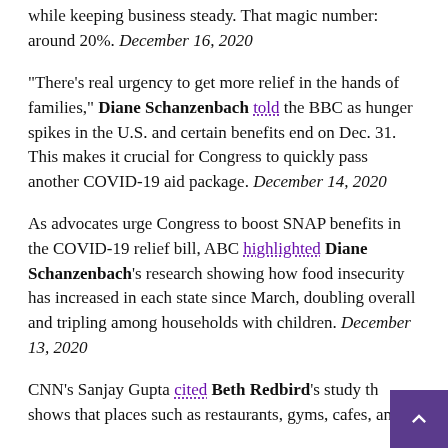while keeping business steady. That magic number: around 20%. December 16, 2020
"There's real urgency to get more relief in the hands of families," Diane Schanzenbach told the BBC as hunger spikes in the U.S. and certain benefits end on Dec. 31. This makes it crucial for Congress to quickly pass another COVID-19 aid package. December 14, 2020
As advocates urge Congress to boost SNAP benefits in the COVID-19 relief bill, ABC highlighted Diane Schanzenbach's research showing how food insecurity has increased in each state since March, doubling overall and tripling among households with children. December 13, 2020
CNN's Sanjay Gupta cited Beth Redbird's study that shows that places such as restaurants, gyms, cafes, and